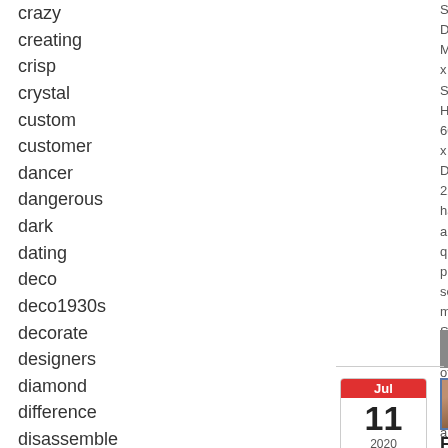crazy
creating
crisp
crystal
custom
customer
dancer
dangerous
dark
dating
deco
deco1930s
decorate
designers
diamond
difference
disassemble
door
Secret Draw Measureme x Surface H 60" x D 22". have any qu please send message. S Antiques off large showr antiques & are [...]
[Figure (other): Read more button (grey rounded rectangle with circle icon and 'Read' text)]
[Figure (other): Calendar widget showing Jul 11 2020]
[Figure (photo): Small thumbnail image of an antique/wooden item]
English